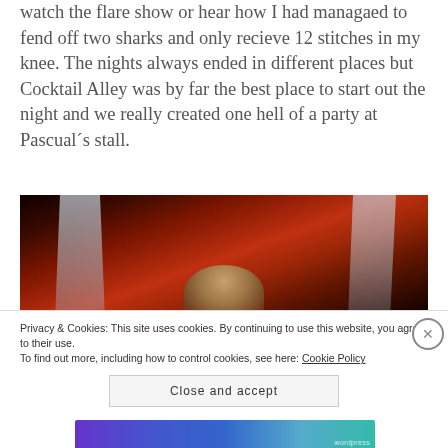watch the flare show or hear how I had managaed to fend off two sharks and only recieve 12 stitches in my knee. The nights always ended in different places but Cocktail Alley was by far the best place to start out the night and we really created one hell of a party at Pascual´s stall.
[Figure (photo): Nighttime photo inside a tent or stall with red/dark ceiling draped with white fabric, a person visible in the lower center area]
Privacy & Cookies: This site uses cookies. By continuing to use this website, you agree to their use.
To find out more, including how to control cookies, see here: Cookie Policy
Close and accept